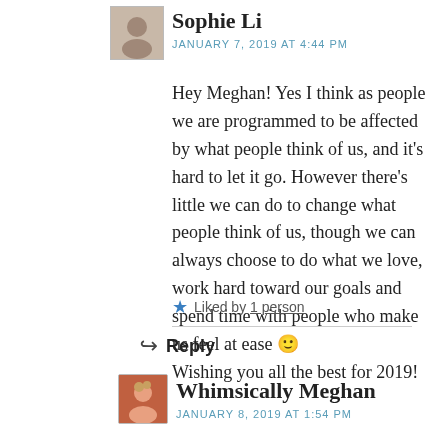[Figure (photo): Small avatar photo of Sophie Li]
Sophie Li
JANUARY 7, 2019 AT 4:44 PM
Hey Meghan! Yes I think as people we are programmed to be affected by what people think of us, and it’s hard to let it go. However there’s little we can do to change what people think of us, though we can always choose to do what we love, work hard toward our goals and spend time with people who make us feel at ease 🙂
Wishing you all the best for 2019!
★ Liked by 1 person
Reply
[Figure (photo): Small avatar photo of Whimsically Meghan]
Whimsically Meghan
JANUARY 8, 2019 AT 1:54 PM